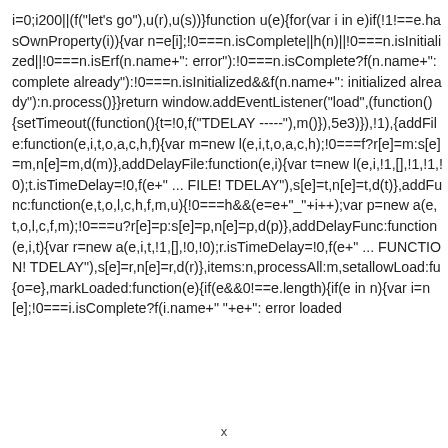i=0;i200||(f("let's go"),u(r),u(s))}function u(e){for(var i in e)if(!1!==e.hasOwnProperty(i)){var n=e[i];!0===n.isComplete||h(n)||!0===n.isInitialized||!0===n.isError?f(n.name+": error"):!0===n.isComplete?f(n.name+": complete already"):!0===n.isInitialized&&f(n.name+": initialized already"):n.process()}}return window.addEventListener("load",(function(){setTimeout((function(){t=!0,f("TDELAY -----"),m()}),5e3)}),!1),{addFile:function(e,i,t,o,a,c,h,f){var m=new l(e,i,t,o,a,c,h);!0===f?r[e]=m:s[e]=m,n[e]=m,d(m)},addDelayFile:function(e,i){var t=new l(e,i,!1,[],!1,!1,!0);t.isTimeDelay=!0,f(e+" ... FILE! TDELAY"),s[e]=t,n[e]=t,d(t)},addFunc:function(e,t,o,l,c,h,f,m,u){!0===h&&(e=e+"_"+i++);var p=new a(e,t,o,l,c,f,m);!0===u?r[e]=p:s[e]=p,n[e]=p,d(p)},addDelayFunc:function(e,i,t){var r=new a(e,i,t,!1,[],!0,!0);r.isTimeDelay=!0,f(e+" ... FUNCTION! TDELAY"),s[e]=r,n[e]=r,d(r)},items:n,processAll:m,setallowLoad:fu{o=e},markLoaded:function(e){if(e&&0!==e.length){if(e in n){var i=n[e];!0===i.isComplete?f(i.name+" "+e+": error loaded
x